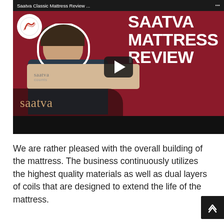[Figure (screenshot): YouTube video thumbnail/screenshot for 'Saatva Classic Mattress Review...' showing a man holding a Saatva mattress box against a dark red background with large white text reading 'SAATVA MATTRESS REVIEW'. A play button is visible in the center.]
We are rather pleased with the overall building of the mattress. The business continuously utilizes the highest quality materials as well as dual layers of coils that are designed to extend the life of the mattress.